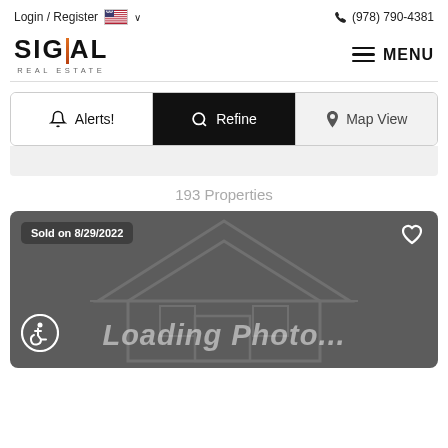Login / Register  🇺🇸 ∨    ☎ (978) 790-4381
[Figure (logo): Signal Real Estate logo with orange vertical bar accent]
≡ MENU
🔔 Alerts!    🔍 Refine    📍 Map View
193 Properties
[Figure (screenshot): Property listing card with dark grey background showing 'Sold on 8/29/2022' badge, heart icon, wheelchair accessibility icon, and 'Loading Photo...' text over a faint house illustration]